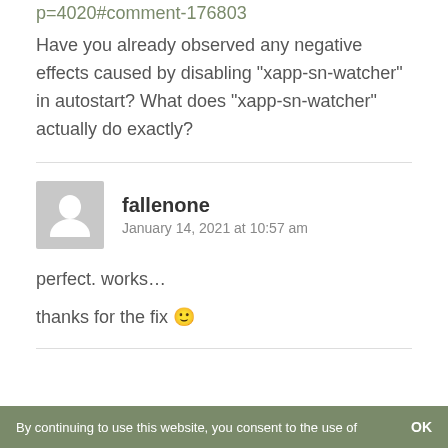post: https://blog.linuxmint.com/?p=4020#comment-176803
Have you already observed any negative effects caused by disabling “xapp-sn-watcher” in autostart? What does “xapp-sn-watcher” actually do exactly?
fallenone
January 14, 2021 at 10:57 am
perfect. works…

thanks for the fix 🙂
By continuing to use this website, you consent to the use of   OK